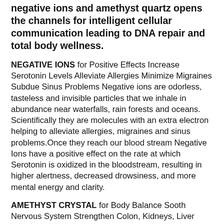negative ions and amethyst quartz opens the channels for intelligent cellular communication leading to DNA repair and total body wellness.
NEGATIVE IONS for Positive Effects Increase Serotonin Levels Alleviate Allergies Minimize Migraines Subdue Sinus Problems Negative ions are odorless, tasteless and invisible particles that we inhale in abundance near waterfalls, rain forests and oceans. Scientifically they are molecules with an extra electron helping to alleviate allergies, migraines and sinus problems.Once they reach our blood stream Negative Ions have a positive effect on the rate at which Serotonin is oxidized in the bloodstream, resulting in higher alertness, decreased drowsiness, and more mental energy and clarity.
AMETHYST CRYSTAL for Body Balance Sooth Nervous System Strengthen Colon, Kidneys, Liver Improve Memory Skills Regulate Intestinal Flora Reduce Inflammation Amethyst bolsters the production of the hormones, and strengthens the cleansing organs, the circulatory system and blood.This brings the immune system and body metabolism into balance and harmony. Amethyst also soothes the nervous system and aids in the transmission of neural signals. And